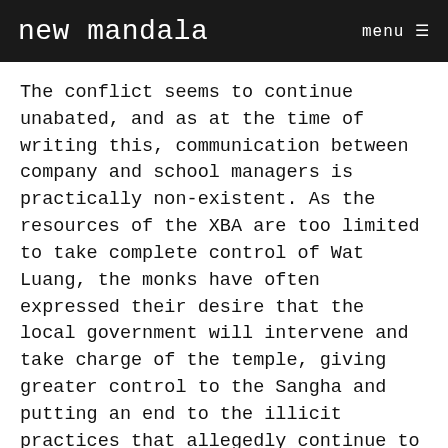new mandala
The conflict seems to continue unabated, and as at the time of writing this, communication between company and school managers is practically non-existent. As the resources of the XBA are too limited to take complete control of Wat Luang, the monks have often expressed their desire that the local government will intervene and take charge of the temple, giving greater control to the Sangha and putting an end to the illicit practices that allegedly continue to take place within the temple. However, due to the amount of the investment (around 350 million RMB, or 52 million US Dollars) this seems unlikely, and conflict will probably erupt again in the near future.